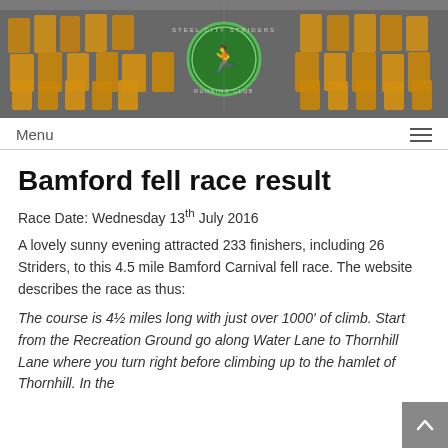[Figure (photo): Group photo of Steel City Striders Running Club members in orange and yellow running vests. Black and white photo with a green circular club logo in the center.]
Menu
Bamford fell race result
Race Date: Wednesday 13th July 2016
A lovely sunny evening attracted 233 finishers, including 26 Striders, to this 4.5 mile Bamford Carnival fell race. The website describes the race as thus:
The course is 4½ miles long with just over 1000' of climb. Start from the Recreation Ground go along Water Lane to Thornhill Lane where you turn right before climbing up to the hamlet of Thornhill. In the